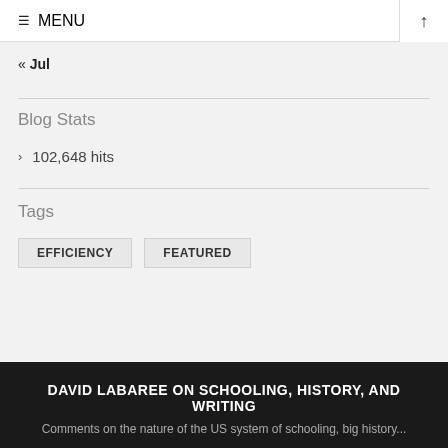≡ MENU ↑
« Jul
Blog Stats
102,648 hits
Tags
EFFICIENCY
FEATURED
DAVID LABAREE ON SCHOOLING, HISTORY, AND WRITING
Comments on the nature of the US system of schooling, big history...